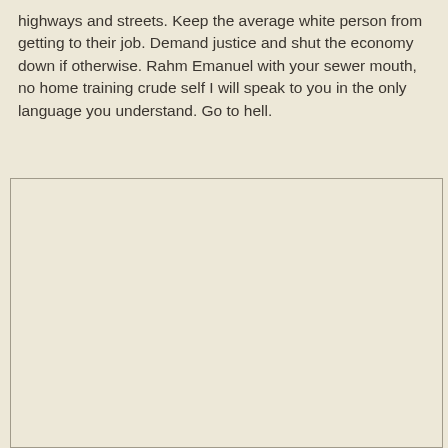highways and streets. Keep the average white person from getting to their job. Demand justice and shut the economy down if otherwise. Rahm Emanuel with your sewer mouth, no home training crude self I will speak to you in the only language you understand. Go to hell.